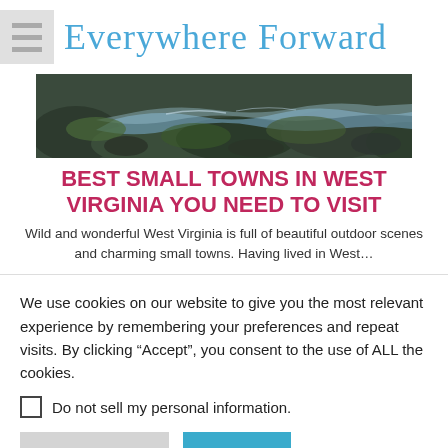Everywhere Forward
[Figure (photo): Outdoor nature scene with rocks, water, and moss — a waterfall or creek in a wooded area]
BEST SMALL TOWNS IN WEST VIRGINIA YOU NEED TO VISIT
Wild and wonderful West Virginia is full of beautiful outdoor scenes and charming small towns. Having lived in West...
We use cookies on our website to give you the most relevant experience by remembering your preferences and repeat visits. By clicking “Accept”, you consent to the use of ALL the cookies.
Do not sell my personal information.
Cookie Settings
Accept